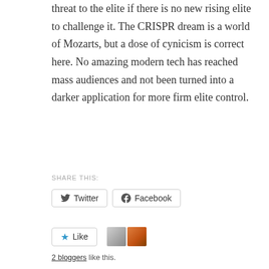threat to the elite if there is no new rising elite to challenge it. The CRISPR dream is a world of Mozarts, but a dose of cynicism is correct here. No amazing modern tech has reached mass audiences and not been turned into a darker application for more firm elite control.
SHARE THIS:
[Figure (screenshot): Twitter and Facebook share buttons]
[Figure (screenshot): Like button with star icon and two blogger avatars]
2 bloggers like this.
RELATED
New Realities in the Post-Roe World
July 7, 2022